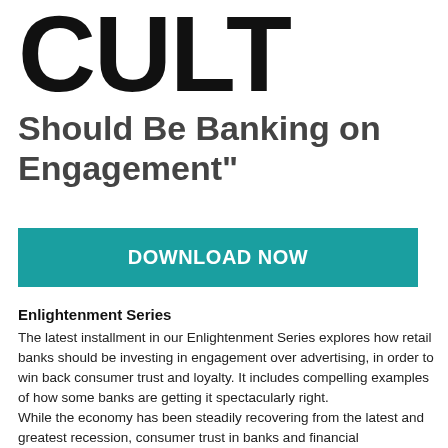CULT
Should Be Banking on Engagement"
[Figure (other): DOWNLOAD NOW button in teal/cyan color]
Enlightenment Series
The latest installment in our Enlightenment Series explores how retail banks should be investing in engagement over advertising, in order to win back consumer trust and loyalty. It includes compelling examples of how some banks are getting it spectacularly right.
While the economy has been steadily recovering from the latest and greatest recession, consumer trust in banks and financial